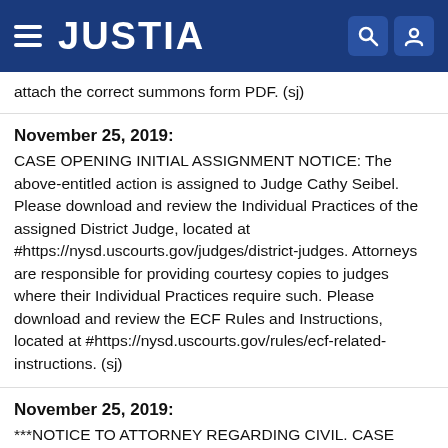JUSTIA
attach the correct summons form PDF. (sj)
November 25, 2019:
CASE OPENING INITIAL ASSIGNMENT NOTICE: The above-entitled action is assigned to Judge Cathy Seibel. Please download and review the Individual Practices of the assigned District Judge, located at #https://nysd.uscourts.gov/judges/district-judges. Attorneys are responsible for providing courtesy copies to judges where their Individual Practices require such. Please download and review the ECF Rules and Instructions, located at #https://nysd.uscourts.gov/rules/ecf-related-instructions. (sj)
November 25, 2019:
***NOTICE TO ATTORNEY REGARDING CIVIL. CASE OPENING STATISTICAL ERROR CORRECTION: A...